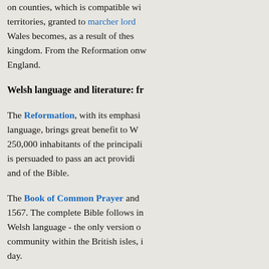on counties, which is compatible with territories, granted to marcher lords. Wales becomes, as a result of these kingdom. From the Reformation onw England.
Welsh language and literature: fr
The Reformation, with its emphasis language, brings great benefit to W 250,000 inhabitants of the principali is persuaded to pass an act providi and of the Bible.
The Book of Common Prayer and 1567. The complete Bible follows in Welsh language - the only version community within the British isles, i day.
At the same period as the Reforma beneficial effect on Welsh literature. classical texts becomes, in the Wels great bardic tradition of oral poetry. century, analyzing the grammar of t poetry.
There are periods when the interest immigration and other pressures (su reduce the percentage of the popul
Nevertheless the figures remain am population in 1891, the proportion